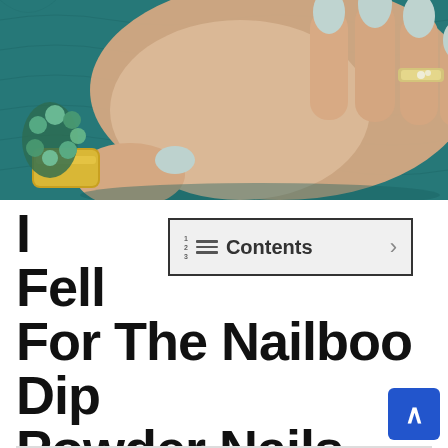[Figure (photo): Close-up photo of a woman's hand with light blue/grey stiletto nails, wearing a gold bangle bracelet and green beaded bracelet, with a diamond ring on the ring finger, hand resting on a teal quilted fabric background.]
I Fell For The Nailboo Dip Powder Nails Instagram Ad